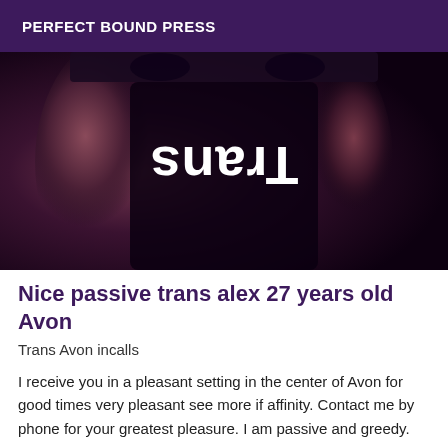PERFECT BOUND PRESS
[Figure (photo): A photo showing a person wearing a black top with mirrored/reflected text reading 'Trans' visible on the fabric. The image is dark with purple-brown tones.]
Nice passive trans alex 27 years old Avon
Trans Avon incalls
I receive you in a pleasant setting in the center of Avon for good times very pleasant see more if affinity. Contact me by phone for your greatest pleasure. I am passive and greedy.